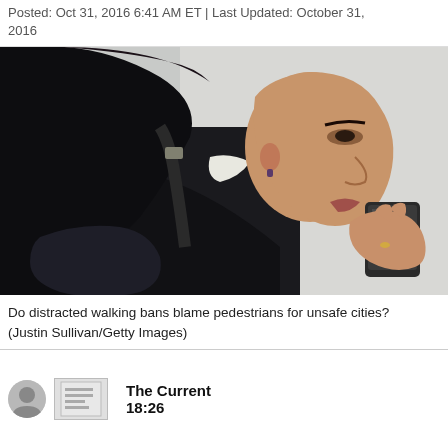Posted: Oct 31, 2016 6:41 AM ET | Last Updated: October 31, 2016
[Figure (photo): A woman in profile looking down at a mobile phone, wearing a dark jacket with a handbag, black hair in a ponytail.]
Do distracted walking bans blame pedestrians for unsafe cities? (Justin Sullivan/Getty Images)
The Current   18:26